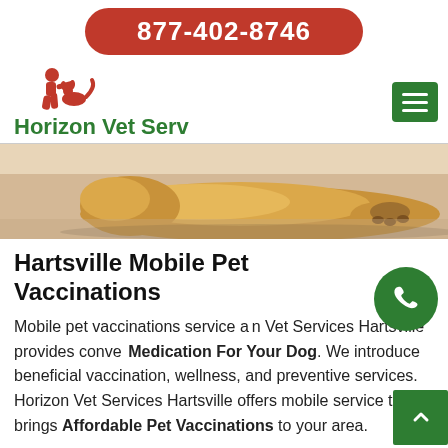877-402-8746
[Figure (logo): Horizon Vet Serv logo with red silhouette of person with pets and green text]
Hartsville Mobile Pet Vaccinations
Mobile pet vaccinations service at Horizon Vet Services Hartsville provides convenient Medication For Your Dog. We introduce beneficial vaccination, wellness, and preventive services. Horizon Vet Services Hartsville offers mobile service that brings Affordable Pet Vaccinations to your area.